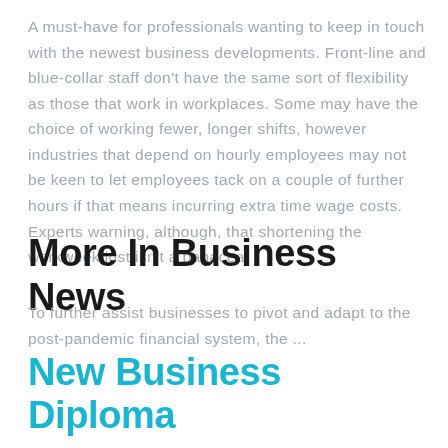A must-have for professionals wanting to keep in touch with the newest business developments. Front-line and blue-collar staff don't have the same sort of flexibility as those that work in workplaces. Some may have the choice of working fewer, longer shifts, however industries that depend on hourly employees may not be keen to let employees tack on a couple of further hours if that means incurring extra time wage costs. Experts warning, although, that shortening the workweek just isn't a panacea.
More In Business News
To further assist businesses to pivot and adapt to the post-pandemic financial system, the ...
New Business Diploma